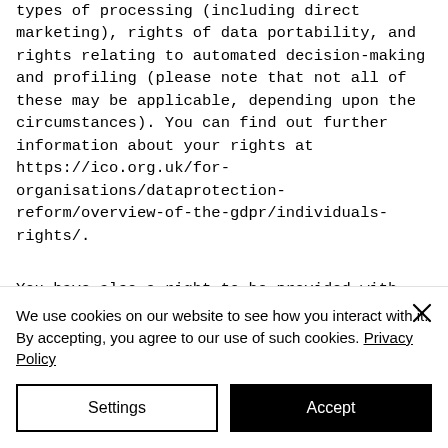types of processing (including direct marketing), rights of data portability, and rights relating to automated decision-making and profiling (please note that not all of these may be applicable, depending upon the circumstances). You can find out further information about your rights at https://ico.org.uk/for-organisations/dataprotection-reform/overview-of-the-gdpr/individuals-rights/.
You have also a right to be provided with certain information about the processing of personal data and for that information to be provided within certain timescales.
We use cookies on our website to see how you interact with it. By accepting, you agree to our use of such cookies. Privacy Policy